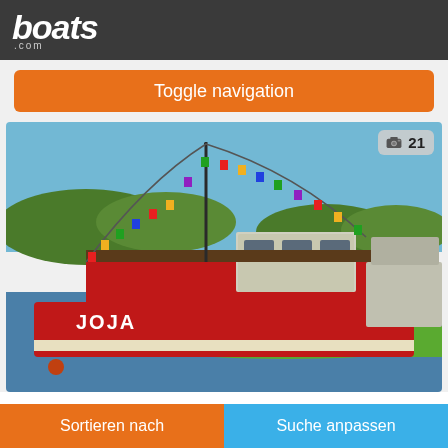boats .com
Toggle navigation
[Figure (photo): A classic Dutch barge named JOJA, painted red with a white stripe, moored along a grassy riverbank. Colorful bunting flags run from the bow mast to the stern. Trees and hills visible in background. Other boats moored alongside. Photo counter badge showing camera icon and 21.]
Classic Dutch Barge
Shepperton, Surrey, Vereinigtes Königreich
Sortieren nach
Suche anpassen